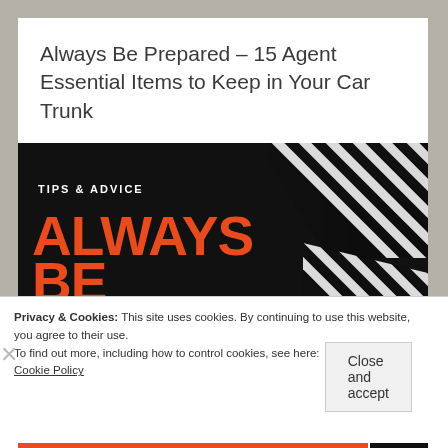Always Be Prepared – 15 Agent Essential Items to Keep in Your Car Trunk
[Figure (infographic): Dark background infographic with white diagonal stripes pattern on right side, 'TIPS & ADVICE' label in white, and large orange/red bold text reading 'ALWAYS BE PREPARED']
Privacy & Cookies: This site uses cookies. By continuing to use this website, you agree to their use.
To find out more, including how to control cookies, see here:
Cookie Policy
Close and accept